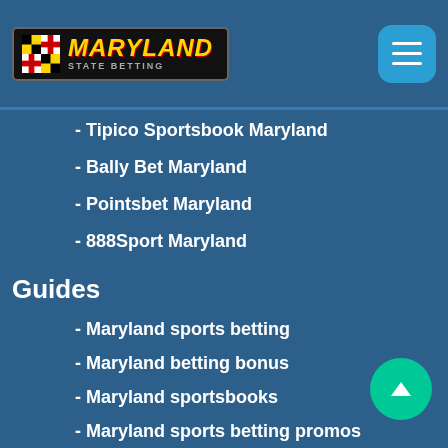Maryland State Betting
- Tipico Sportsbook Maryland
- Bally Bet Maryland
- Pointsbet Maryland
- 888Sport Maryland
Guides
- Maryland sports betting
- Maryland betting bonus
- Maryland sportsbooks
- Maryland sports betting promos
- Fast payouts betting Maryland
- Maryland mobile betting apps